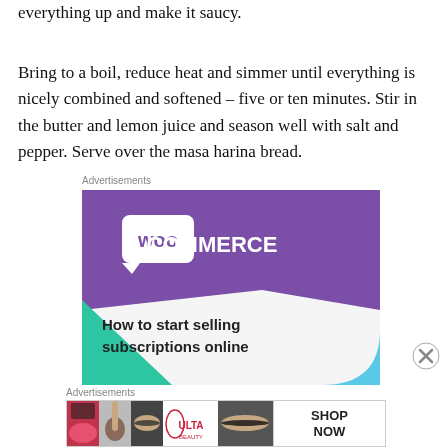everything up and make it saucy.
Bring to a boil, reduce heat and simmer until everything is nicely combined and softened – five or ten minutes. Stir in the butter and lemon juice and season well with salt and pepper. Serve over the masa harina bread.
Advertisements
[Figure (other): WooCommerce advertisement banner with purple and teal design, text: How to start selling subscriptions online]
Advertisements
[Figure (other): Ulta Beauty advertisement banner with makeup imagery and SHOP NOW call to action]